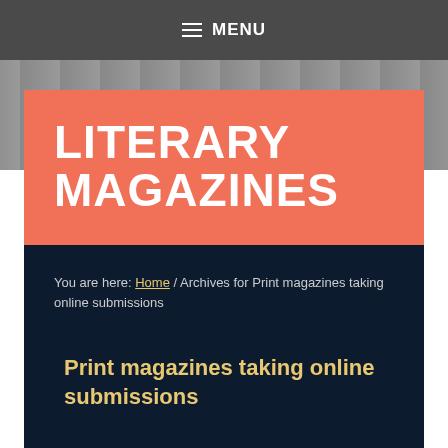≡ MENU
LITERARY MAGAZINES
You are here: Home / Archives for Print magazines taking online submissions
Print magazines taking online submissions